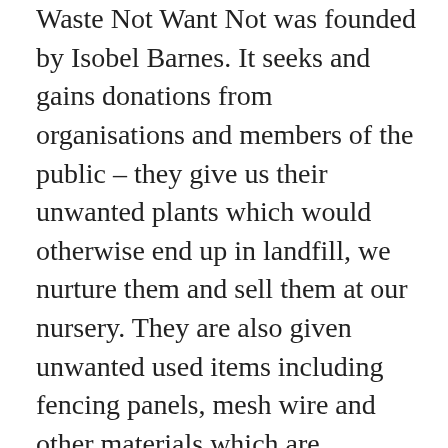Waste Not Want Not was founded by Isobel Barnes. It seeks and gains donations from organisations and members of the public – they give us their unwanted plants which would otherwise end up in landfill, we nurture them and sell them at our nursery. They are also given unwanted used items including fencing panels, mesh wire and other materials which are recycled and put to good use. Waste Not Want Not was established in June 2008. Originally people were referred from the Haven Hostel for the Homeless and the Living Room, a centre for people with addictive behaviours. Over the years the network of referring organisations has grown and includes North Herts College, YMCA, Ingeus, Mid Point, Westminster Doorstep, Bedford Prison and